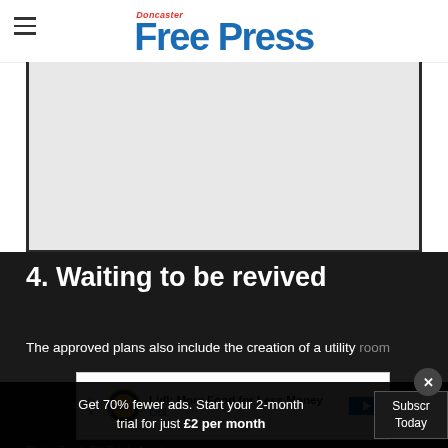Doncaster Free Press
[Figure (photo): Gray rectangular image area, partially cropped, showing a room interior (mostly obscured)]
4. Waiting to be revived
The approved plans also include the creation of a utility room
[Figure (other): Lidl advertisement: Lidl: More Food for Less Money - Lidl]
Photo: Zoopla/SK Estate Agents
Get 70% fewer ads. Start your 2-month trial for just £2 per month
Subscribe Today